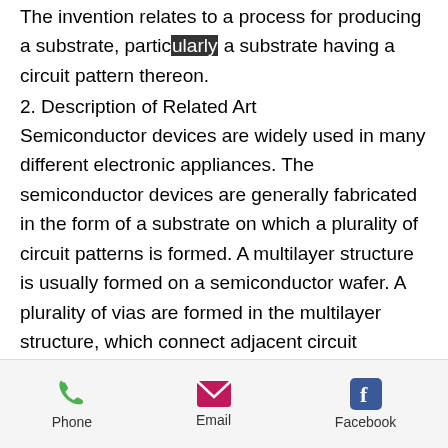The invention relates to a process for producing a substrate, particularly a substrate having a circuit pattern thereon.
2. Description of Related Art
Semiconductor devices are widely used in many different electronic appliances. The semiconductor devices are generally fabricated in the form of a substrate on which a plurality of circuit patterns is formed. A multilayer structure is usually formed on a semiconductor wafer. A plurality of vias are formed in the multilayer structure, which connect adjacent circuit patterns to each other. The diameter of the vias is small, which makes the vias easily blocked. The blocked vias may increase the resistance of the interconnections between the adjacent circuit patterns. In addition, the width of the
Phone   Email   Facebook